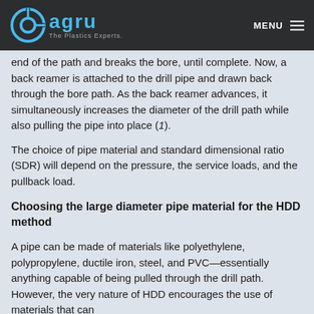agru — The Plastics Experts. MENU
...end of the path and breaks the bore, until complete. Now, a back reamer is attached to the drill pipe and drawn back through the bore path. As the back reamer advances, it simultaneously increases the diameter of the drill path while also pulling the pipe into place (1).
The choice of pipe material and standard dimensional ratio (SDR) will depend on the pressure, the service loads, and the pullback load.
Choosing the large diameter pipe material for the HDD method
A pipe can be made of materials like polyethylene, polypropylene, ductile iron, steel, and PVC—essentially anything capable of being pulled through the drill path. However, the very nature of HDD encourages the use of materials that can withstand the rigors...